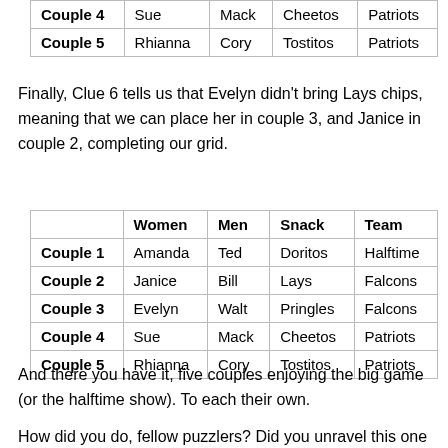|  | Women | Men | Snack | Team |
| --- | --- | --- | --- | --- |
| Couple 4 | Sue | Mack | Cheetos | Patriots |
| Couple 5 | Rhianna | Cory | Tostitos | Patriots |
Finally, Clue 6 tells us that Evelyn didn't bring Lays chips, meaning that we can place her in couple 3, and Janice in couple 2, completing our grid.
|  | Women | Men | Snack | Team |
| --- | --- | --- | --- | --- |
| Couple 1 | Amanda | Ted | Doritos | Halftime |
| Couple 2 | Janice | Bill | Lays | Falcons |
| Couple 3 | Evelyn | Walt | Pringles | Falcons |
| Couple 4 | Sue | Mack | Cheetos | Patriots |
| Couple 5 | Rhianna | Cory | Tostitos | Patriots |
And there you have it, five couples enjoying the big game (or the halftime show). To each their own.
How did you do, fellow puzzlers? Did you unravel this one